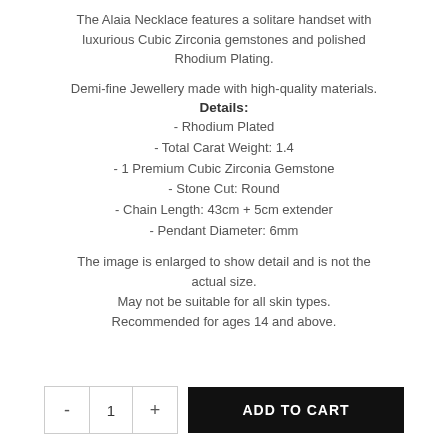The Alaia Necklace features a solitare handset with luxurious Cubic Zirconia gemstones and polished Rhodium Plating.
Demi-fine Jewellery made with high-quality materials.
Details:
- Rhodium Plated
- Total Carat Weight: 1.4
- 1 Premium Cubic Zirconia Gemstone
- Stone Cut: Round
- Chain Length: 43cm + 5cm extender
- Pendant Diameter: 6mm
The image is enlarged to show detail and is not the actual size.
May not be suitable for all skin types.
Recommended for ages 14 and above.